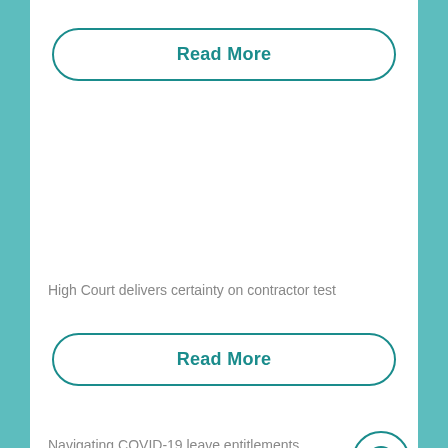Read More
High Court delivers certainty on contractor test
Read More
Navigating COVID-19 leave entitlements